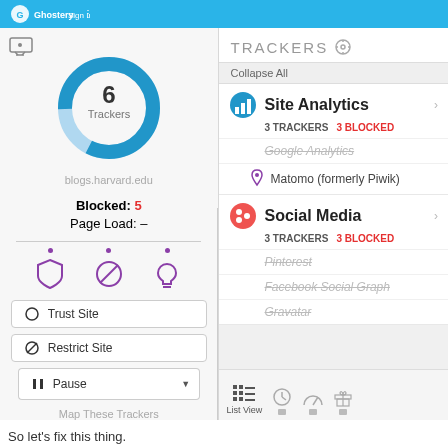[Figure (screenshot): Ghostery browser extension popup showing tracker blocking interface for blogs.harvard.edu. Left panel shows donut chart with 6 Trackers, Blocked: 5, Page Load: -. Right panel shows TRACKERS with Site Analytics (3 TRACKERS, 3 BLOCKED: Google Analytics blocked, Matomo active) and Social Media (3 TRACKERS, 3 BLOCKED: Pinterest, Facebook Social Graph, Gravatar blocked).]
So let's fix this thing.